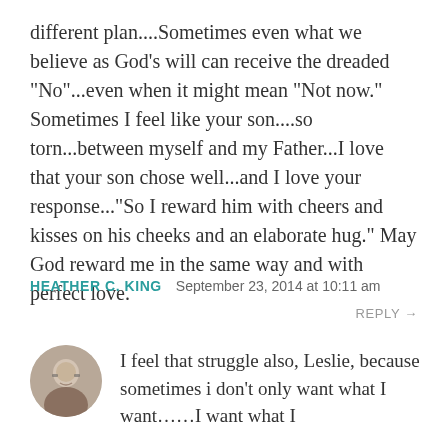different plan....Sometimes even what we believe as God’s will can receive the dreaded “No”...even when it might mean “Not now.” Sometimes I feel like your son....so torn...between myself and my Father...I love that your son chose well...and I love your response...“So I reward him with cheers and kisses on his cheeks and an elaborate hug.” May God reward me in the same way and with perfect love.
HEATHER C. KING   September 23, 2014 at 10:11 am
REPLY →
[Figure (photo): Circular avatar photo of a woman with glasses]
I feel that struggle also, Leslie, because sometimes i don’t only want what I want……I want what I